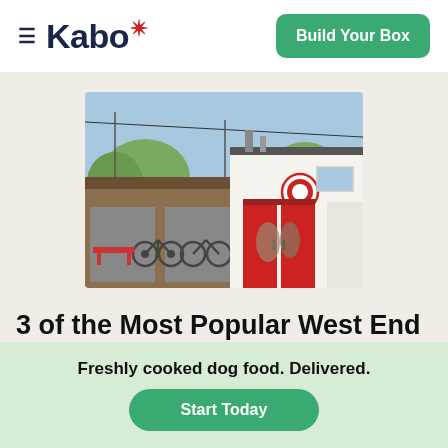≡ Kabo* | Build Your Box
[Figure (photo): Exterior of a dog-friendly restaurant/bar with a white building facade, large red barn-style doors, a circular logo sign, bicycles parked outside, and a red picnic table. Blue sky in background.]
3 of the Most Popular West End Dog-Friendly Restaurants
Freshly cooked dog food. Delivered.
Start Today